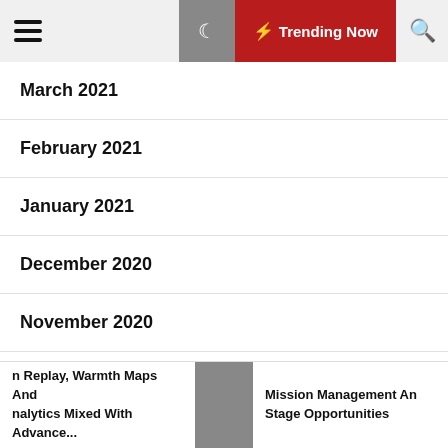Trending Now navigation bar with hamburger menu, moon icon, Trending Now button, and search icon
March 2021
February 2021
January 2021
December 2020
November 2020
October 2020
September 2020
n Replay, Warmth Maps And nalytics Mixed With Advance... | Mission Management An Stage Opportunities